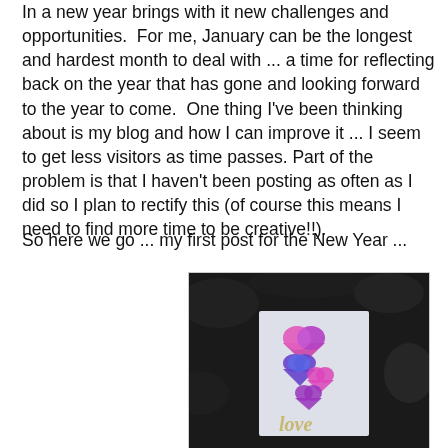In a new year brings with it new challenges and opportunities.  For me, January can be the longest and hardest month to deal with ... a time for reflecting back on the year that has gone and looking forward to the year to come.  One thing I've been thinking about is my blog and how I can improve it ... I seem to get less visitors as time passes. Part of the problem is that I haven't been posting as often as I did so I plan to rectify this (of course this means I need to find more time to be creative!!).
So here we go ... my first post for the New Year ...
[Figure (photo): A handmade greeting card with colorful holographic heart embellishments arranged vertically and the word 'love' in gold script at the bottom, photographed against a dark stone background.]